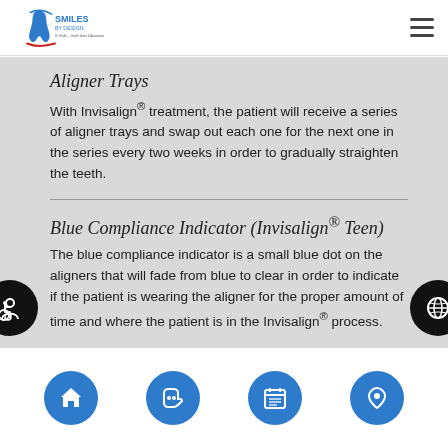[Figure (logo): Smiles by Design dental practice logo with tooth icon and red/blue swoosh]
Aligner Trays
With Invisalign® treatment, the patient will receive a series of aligner trays and swap out each one for the next one in the series every two weeks in order to gradually straighten the teeth.
Blue Compliance Indicator (Invisalign® Teen)
The blue compliance indicator is a small blue dot on the aligners that will fade from blue to clear in order to indicate if the patient is wearing the aligner for the proper amount of time and where the patient is in the Invisalign® process.